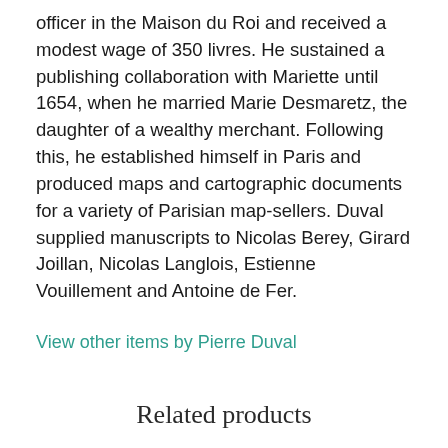officer in the Maison du Roi and received a modest wage of 350 livres. He sustained a publishing collaboration with Mariette until 1654, when he married Marie Desmaretz, the daughter of a wealthy merchant. Following this, he established himself in Paris and produced maps and cartographic documents for a variety of Parisian map-sellers. Duval supplied manuscripts to Nicolas Berey, Girard Joillan, Nicolas Langlois, Estienne Vouillement and Antoine de Fer.
View other items by Pierre Duval
Related products